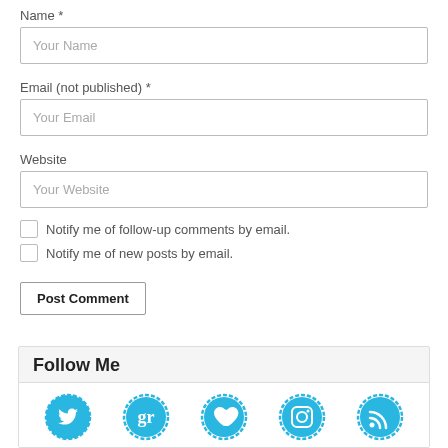Name *
Your Name
Email (not published) *
Your Email
Website
Your Website
Notify me of follow-up comments by email.
Notify me of new posts by email.
Post Comment
Follow Me
[Figure (infographic): Five social media icons in a row: Twitter, Goodreads, heart/love, Instagram, RSS feed — all in blue with dashed circular borders]